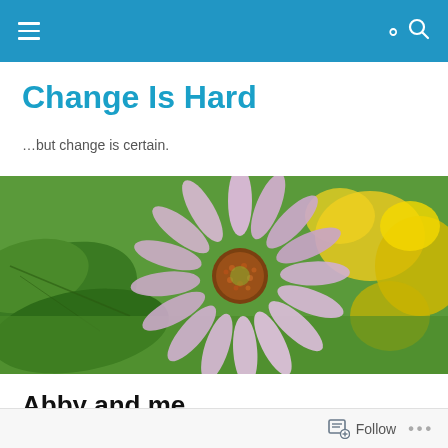Navigation bar with hamburger menu and search icon
Change Is Hard
…but change is certain.
[Figure (photo): Close-up photo of a pink/lavender coneflower (echinacea) with orange center, surrounded by green leaves and yellow flowers in soft focus background]
Abby and me
Follow ...